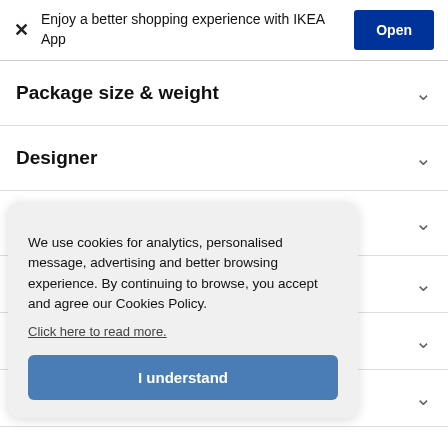[Figure (screenshot): IKEA app banner with close button, text 'Enjoy a better shopping experience with IKEA App', and blue Open button]
Package size & weight
Designer
Materials
Environment
We use cookies for analytics, personalised message, advertising and better browsing experience. By continuing to browse, you accept and agree our Cookies Policy. Click here to read more.